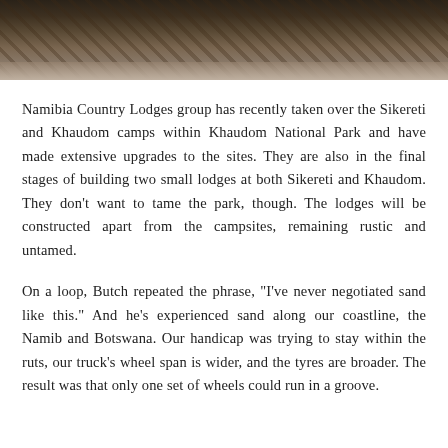[Figure (photo): Close-up photograph of natural textures, appearing to show bark, wood, or rocky organic material in dark brown and grey tones at the top of the page.]
Namibia Country Lodges group has recently taken over the Sikereti and Khaudom camps within Khaudom National Park and have made extensive upgrades to the sites. They are also in the final stages of building two small lodges at both Sikereti and Khaudom. They don't want to tame the park, though. The lodges will be constructed apart from the campsites, remaining rustic and untamed.
On a loop, Butch repeated the phrase, "I've never negotiated sand like this." And he's experienced sand along our coastline, the Namib and Botswana. Our handicap was trying to stay within the ruts, our truck's wheel span is wider, and the tyres are broader. The result was that only one set of wheels could run in a groove.